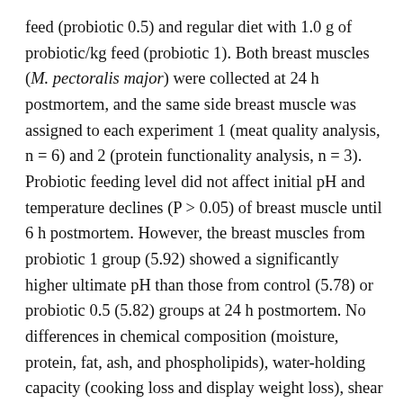feed (probiotic 0.5) and regular diet with 1.0 g of probiotic/kg feed (probiotic 1). Both breast muscles (M. pectoralis major) were collected at 24 h postmortem, and the same side breast muscle was assigned to each experiment 1 (meat quality analysis, n = 6) and 2 (protein functionality analysis, n = 3). Probiotic feeding level did not affect initial pH and temperature declines (P > 0.05) of breast muscle until 6 h postmortem. However, the breast muscles from probiotic 1 group (5.92) showed a significantly higher ultimate pH than those from control (5.78) or probiotic 0.5 (5.82) groups at 24 h postmortem. No differences in chemical composition (moisture, protein, fat, ash, and phospholipids), water-holding capacity (cooking loss and display weight loss), shear force, and lipid oxidation stability were found in breast muscles from chickens exposed to cyclic heat challenge, regardless of probiotic levels (P > 0.05). As in our review,